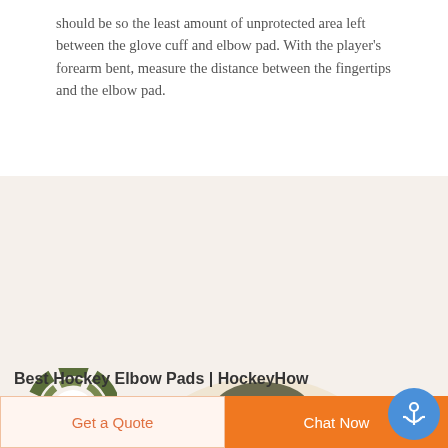should be so the least amount of unprotected area left between the glove cuff and elbow pad. With the player's forearm bent, measure the distance between the fingertips and the elbow pad.
[Figure (photo): Deekon brand logo at top left (camouflage target circle with red D, DEEKON in red text below), and a military/police bulletproof vest labeled POLICE on chest and SWAT below, on a light beige background.]
Best Hockey Elbow Pads | HockeyHow
Get a Quote
Chat Now